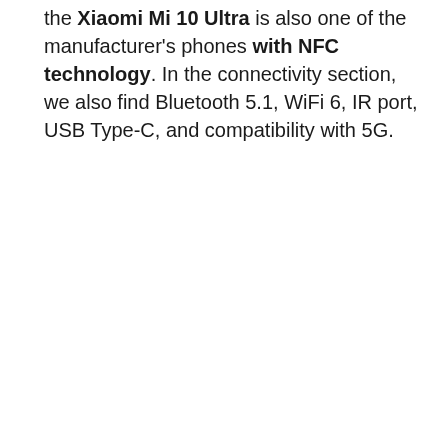the Xiaomi Mi 10 Ultra is also one of the manufacturer's phones with NFC technology. In the connectivity section, we also find Bluetooth 5.1, WiFi 6, IR port, USB Type-C, and compatibility with 5G.